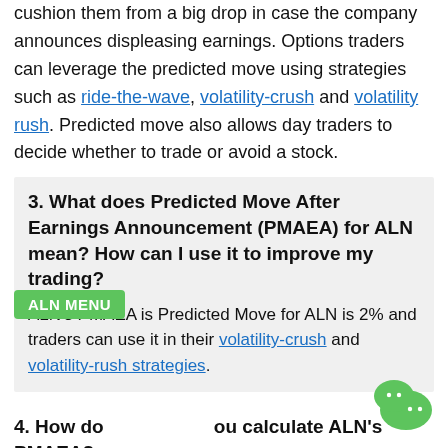cushion them from a big drop in case the company announces displeasing earnings. Options traders can leverage the predicted move using strategies such as ride-the-wave, volatility-crush and volatility rush. Predicted move also allows day traders to decide whether to trade or avoid a stock.
3. What does Predicted Move After Earnings Announcement (PMAEA) for ALN mean? How can I use it to improve my trading?
ALN's PMAEA is Predicted Move for ALN is 2% and traders can use it in their volatility-crush and volatility-rush strategies.
4. How do you calculate ALN's PMAEA?
There are multiple factors to consider in the algorithm used to calculate ALN's predicted move:
a. Analysing ALN's past stock price performance after earnings announcements.
b. Evaluating demand and supply activities around ALN's earnings.